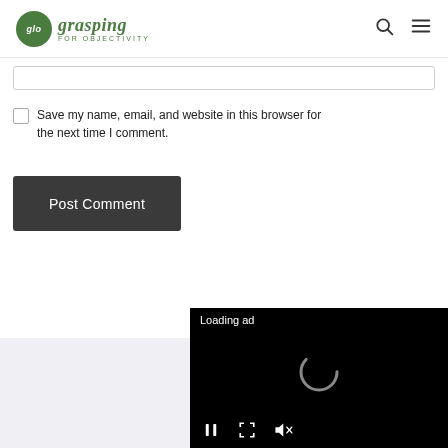glo grasping FOR OBJECTIVITY
[Figure (screenshot): Input text field (partially visible, bottom of a form)]
Save my name, email, and website in this browser for the next time I comment.
Post Comment
[Figure (screenshot): Video ad player overlay showing 'Loading ad' text, a spinning loader icon, and media controls (pause, resize, mute) on a black background]